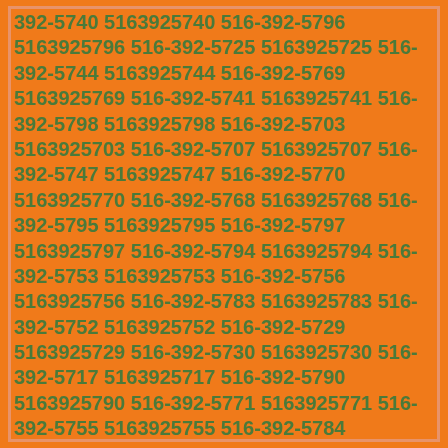392-5740 5163925740 516-392-5796 5163925796 516-392-5725 5163925725 516-392-5744 5163925744 516-392-5769 5163925769 516-392-5741 5163925741 516-392-5798 5163925798 516-392-5703 5163925703 516-392-5707 5163925707 516-392-5747 5163925747 516-392-5770 5163925770 516-392-5768 5163925768 516-392-5795 5163925795 516-392-5797 5163925797 516-392-5794 5163925794 516-392-5753 5163925753 516-392-5756 5163925756 516-392-5783 5163925783 516-392-5752 5163925752 516-392-5729 5163925729 516-392-5730 5163925730 516-392-5717 5163925717 516-392-5790 5163925790 516-392-5771 5163925771 516-392-5755 5163925755 516-392-5784 5163925784 516-392-5719 5163925719 516-392-5760 5163925760 516-392-5787 5163925787 516-392-5776 5163925776 516-392-5726 5163925726 516-392-5742 5163925742 516-392-5735 5163925735 516-392-5791 5163925791 516-392-5731 5163925731 516-392-5746 5163925746 516-392-5759 5163925759 516-392-5758 5163925758 516-392-5788 5163925788 516-392-5766 5163925766 516-392-5706 5163925706 516-392-5728 5163925728 516-392-5712 5163925712 516-392-5749 5163925749